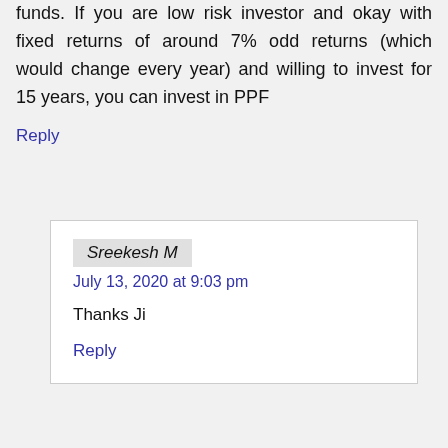funds. If you are low risk investor and okay with fixed returns of around 7% odd returns (which would change every year) and willing to invest for 15 years, you can invest in PPF
Reply
Sreekesh M
July 13, 2020 at 9:03 pm
Thanks Ji
Reply